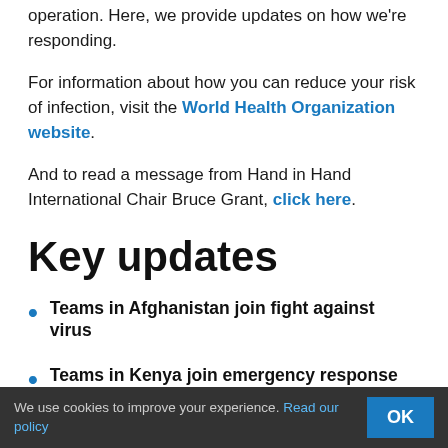operation. Here, we provide updates on how we're responding.
For information about how you can reduce your risk of infection, visit the World Health Organization website.
And to read a message from Hand in Hand International Chair Bruce Grant, click here.
Key updates
Teams in Afghanistan join fight against virus
Teams in Kenya join emergency response
Teams in Tanzania relay health information to
We use cookies to improve your experience. Read our policy